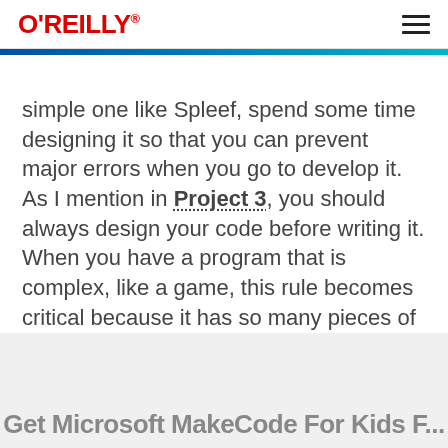O'REILLY
simple one like Spleef, spend some time designing it so that you can prevent major errors when you go to develop it. As I mention in Project 3, you should always design your code before writing it. When you have a program that is complex, like a game, this rule becomes critical because it has so many pieces of code ...
Get Microsoft MakeCode For Kids F...